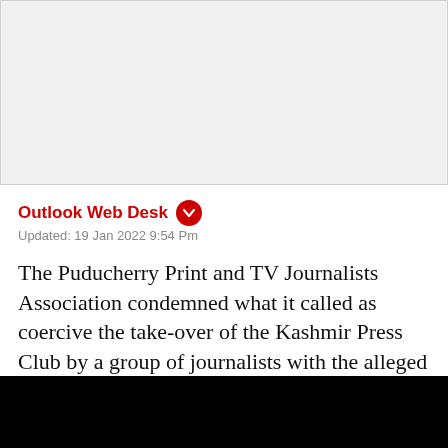[Figure (other): Advertisement or image placeholder area (light gray rectangle)]
Outlook Web Desk
Updated: 19 Jan 2022 9:54 Pm
The Puducherry Print and TV Journalists Association condemned what it called as coercive the take-over of the Kashmir Press Club by a group of journalists with the alleged assistance of the police and the administration on January 15.
[Figure (other): Black video player area at the bottom of the page]